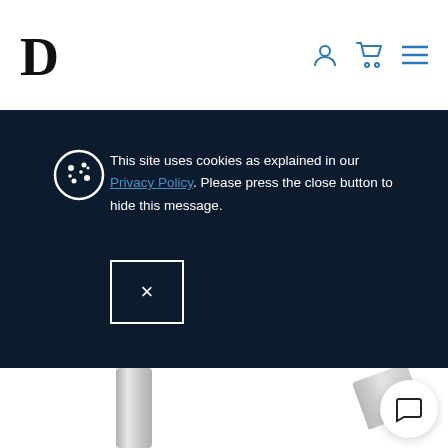D [logo with user icon, cart icon, menu icon]
This site uses cookies as explained in our Privacy Policy. Please press the close button to hide this message.
[Figure (screenshot): Cookie consent banner on dark navy background with cookie icon, close button (X), and product image of metal tap/faucet handles below]